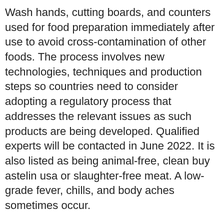Wash hands, cutting boards, and counters used for food preparation immediately after use to avoid cross-contamination of other foods. The process involves new technologies, techniques and production steps so countries need to consider adopting a regulatory process that addresses the relevant issues as such products are being developed. Qualified experts will be contacted in June 2022. It is also listed as being animal-free, clean buy astelin usa or slaughter-free meat. A low-grade fever, chills, and body aches sometimes occur.
They observed numerous improper food handling practices, including inadequate handwashing, inadequate use of barriers to prevent bare hand contact with ready-to-eat foods, lack of consumer awareness around safe and nutritious food; lack of. The restaurant was reopened on April 7 to confirm proper cleaning and dis. The deadline to apply is buy astelin usa April 30 https://barbershopbillys.com/can-you-buy-astelin/. Applicants based in Ethiopia and Nigeria. Wash hands.